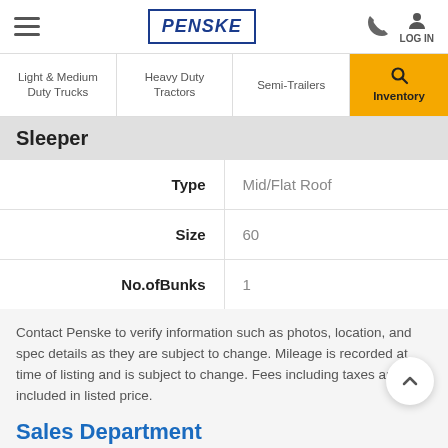PENSKE — navigation header with hamburger menu, logo, phone icon, and LOG IN
Light & Medium Duty Trucks | Heavy Duty Tractors | Semi-Trailers | Inventory
Sleeper
|  |  |
| --- | --- |
| Type | Mid/Flat Roof |
| Size | 60 |
| No.ofBunks | 1 |
Contact Penske to verify information such as photos, location, and spec details as they are subject to change. Mileage is recorded at time of listing and is subject to change. Fees including taxes are not included in listed price.
Sales Department